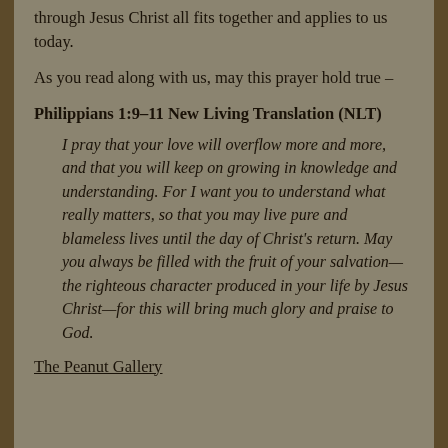through Jesus Christ all fits together and applies to us today.
As you read along with us, may this prayer hold true –
Philippians 1:9–11 New Living Translation (NLT)
I pray that your love will overflow more and more, and that you will keep on growing in knowledge and understanding. For I want you to understand what really matters, so that you may live pure and blameless lives until the day of Christ's return. May you always be filled with the fruit of your salvation—the righteous character produced in your life by Jesus Christ—for this will bring much glory and praise to God.
The Peanut Gallery